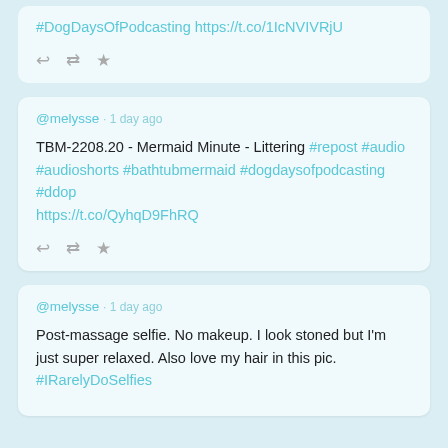#DogDaysOfPodcasting https://t.co/1IcNVIVRjU
@melysse · 1 day ago
TBM-2208.20 - Mermaid Minute - Littering #repost #audio #audioshorts #bathtubmermaid #dogdaysofpodcasting #ddop https://t.co/QyhqD9FhRQ
@melysse · 1 day ago
Post-massage selfie. No makeup. I look stoned but I'm just super relaxed. Also love my hair in this pic. #IRarelyDoSelfies